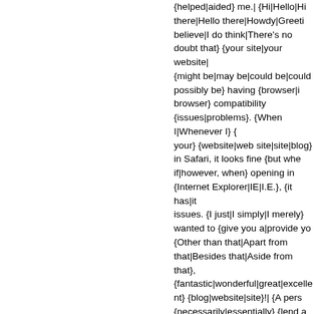{helped|aided} me.| {Hi|Hello|Hi there|Hello there|Howdy|Greeting believe|I do think|There's no doubt that} {your site|your website| {might be|may be|could be|could possibly be} having {browser|i browser} compatibility {issues|problems}. {When I|Whenever I} { your} {website|web site|site|blog} in Safari, it looks fine {but whe if|however, when} opening in {Internet Explorer|IE|I.E.}, {it has|it issues. {I just|I simply|I merely} wanted to {give you a|provide yo {Other than that|Apart from that|Besides that|Aside from that}, {fantastic|wonderful|great|excellent} {blog|website|site}!| {A pers {necessarily|essentially} {lend a hand|help|assist} to make {seriously|critically|significantly|severely} {articles|posts} {I woul is|That is} the {first|very first} time I frequented your {web page|w point|so far|thus far|up to now}? I {amazed|surprised} with the {r made to {create|make} {this actual|this particular} {post|submit|p {incredible|amazing|extraordinary}. {Great|Wonderful|Fantastic|M {task|process|activity|job}!| Heya {i'm|i am} for {the primary|the fi across|found} this board and I {in finding|find|to find} It {truly|rea helped me out {a lot|much}. {I am hoping|I hope|I'm hoping} {to g present} {something|one thing} {back|again} and {help|aid} other {helped|aided} me.| {Hello|Hi|Hello there|Hi there|Howdy|Good d simply} {would like to|want to|wish to} {give you a|offer you a} {h the|for your} {great|excellent} {info|information} {you have|you've {here|right here} on this post. {I will be|I'll be|I am} {coming back blog|your site|your website|your web site} for more soon.| I {alwa used to {read|study} {article|post|piece of writing|paragraph} in